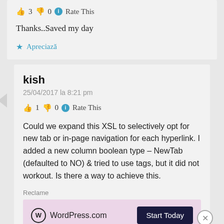👍 3 👎 0 ℹ Rate This
Thanks..Saved my day
★ Apreciază
kish
25/04/2017 la 8:21 pm
👍 1 👎 0 ℹ Rate This
Could we expand this XSL to selectively opt for new tab or in-page navigation for each hyperlink. I added a new column boolean type – NewTab (defaulted to NO) & tried to use tags, but it did not workout. Is there a way to achieve this.
Reclame
[Figure (screenshot): WordPress.com advertisement banner with logo and Start Today button on pink background]